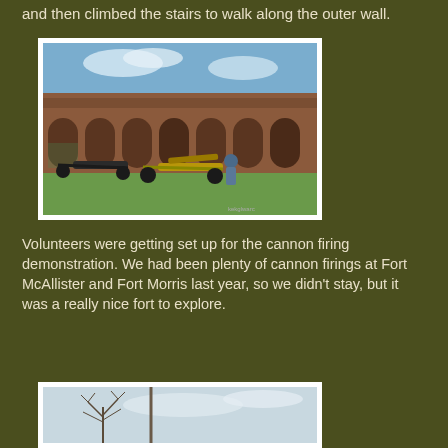and then climbed the stairs to walk along the outer wall.
[Figure (photo): Photo of a historic brick fort interior courtyard with arched openings/casemates, cannons on carriages in the foreground, and a person working on a cannon. Blue sky visible above the fort walls.]
Volunteers were getting set up for the cannon firing demonstration.  We had been plenty of cannon firings at Fort McAllister and Fort Morris last year, so we didn't stay, but it was a really nice fort to explore.
[Figure (photo): Partial photo showing a flag or pole against a light sky with bare tree branches visible.]